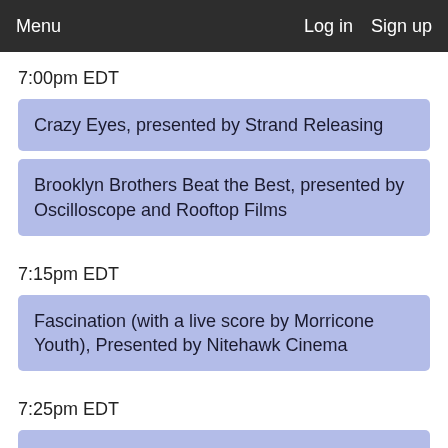Menu   Log in   Sign up
7:00pm EDT
Crazy Eyes, presented by Strand Releasing
Brooklyn Brothers Beat the Best, presented by Oscilloscope and Rooftop Films
7:15pm EDT
Fascination (with a live score by Morricone Youth), Presented by Nitehawk Cinema
7:25pm EDT
Hook, Line and Sinker: NORTHSIDE DIY COMPETITION